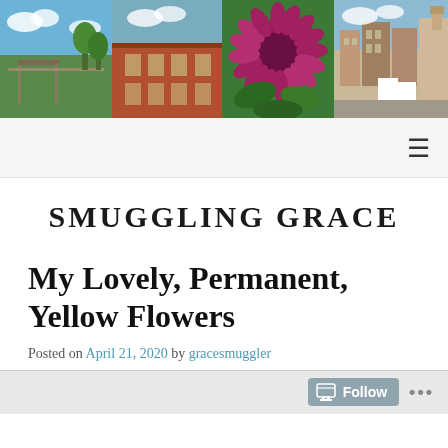[Figure (photo): Header collage of four photos: a wooden bridge in a park, a historic red brick building, a close-up of a large magenta/purple flower, and a small-town main street scene with buildings and a white truck.]
Navigation bar with hamburger menu icon
SMUGGLING GRACE
My Lovely, Permanent, Yellow Flowers
Posted on April 21, 2020 by gracesmuggler
Follow ...